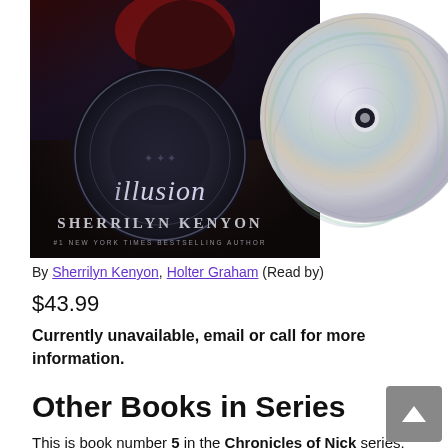[Figure (photo): Audiobook cover for 'Illusion' by Sherrilyn Kenyon showing a dark figure in red and black with a circular ornate design, alongside a CD disc]
By Sherrilyn Kenyon, Holter Graham (Read by)
$43.99
Currently unavailable, email or call for more information.
Other Books in Series
This is book number 5 in the Chronicles of Nick series.